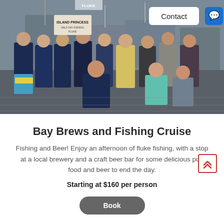[Figure (photo): Group of people standing and crouching on a dock near fishing boats, posing for a photo. Signs in background include 'Island Princess'. Some people wear sunglasses and casual summer clothing. A white 'Contact' button and blue chat icon button are overlaid in the top right corner.]
Bay Brews and Fishing Cruise
Fishing and Beer! Enjoy an afternoon of fluke fishing, with a stop at a local brewery and a craft beer bar for some delicious pub food and beer to end the day.
Starting at $160 per person